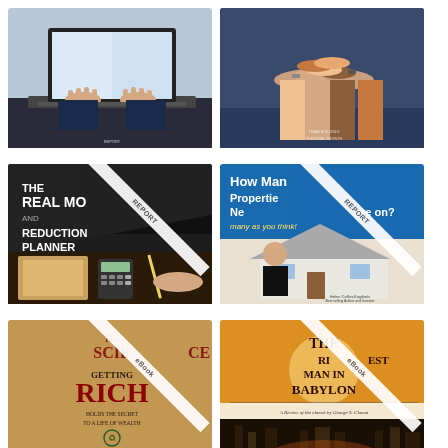[Figure (photo): Person typing on laptop keyboard, close-up of hands]
[Figure (photo): Group of diverse people putting hands together in a team huddle]
[Figure (photo): Book cover: The Real Money Report and Debt Reduction Planner with REPORT banner overlay]
[Figure (photo): Book cover: How Many Properties Do You Need to Retire on? with REPORT banner overlay, showing woman in front of house]
[Figure (photo): Book cover: The Science of Getting Rich by Wallace D. Wattles with eBOOK banner overlay]
[Figure (photo): Book cover: The Richest Man in Babylon eBOOK, A Review of the classic by George S. Clason]